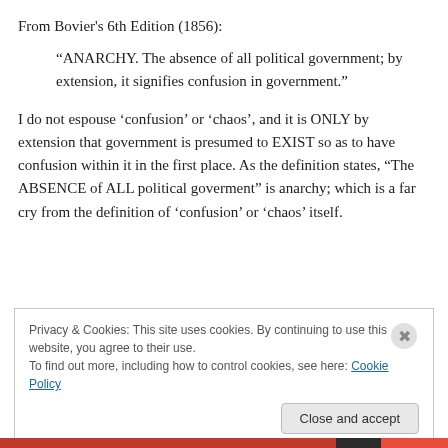From Bovier's 6th Edition (1856):
“ANARCHY. The absence of all political government; by extension, it signifies confusion in government.”
I do not espouse ‘confusion’ or ‘chaos’, and it is ONLY by extension that government is presumed to EXIST so as to have confusion within it in the first place. As the definition states, “The ABSENCE of ALL political goverment” is anarchy; which is a far cry from the definition of ‘confusion’ or ‘chaos’ itself.
Privacy & Cookies: This site uses cookies. By continuing to use this website, you agree to their use.
To find out more, including how to control cookies, see here: Cookie Policy